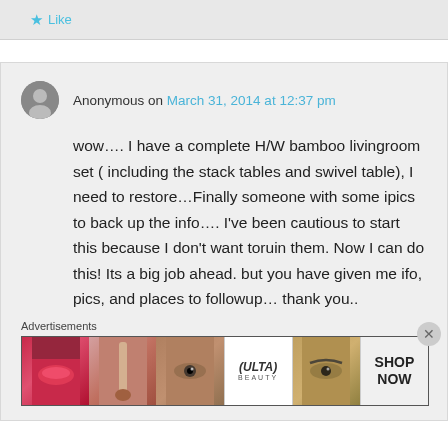Like
Anonymous on March 31, 2014 at 12:37 pm
wow…. I have a complete H/W bamboo livingroom set ( including the stack tables and swivel table), I need to restore…Finally someone with some ipics to back up the info…. I've been cautious to start this because I don't want toruin them. Now I can do this! Its a big job ahead. but you have given me ifo, pics, and places to followup… thank you..
Advertisements
[Figure (illustration): Ulta Beauty advertisement banner with makeup imagery including lips, brushes, eyes, Ulta logo, and 'SHOP NOW' text]